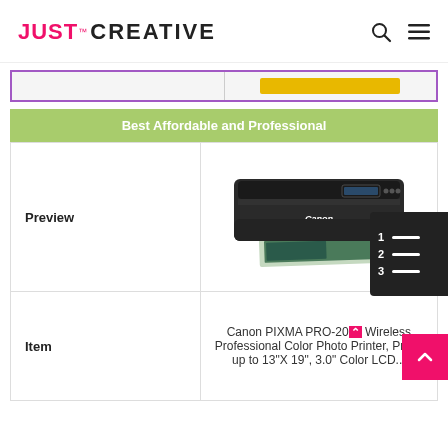JUST™ CREATIVE
[Figure (screenshot): Partial view of a comparison table row with purple border, left cell is light gray, right cell has a yellow button]
Best Affordable and Professional
Preview
[Figure (photo): Canon PIXMA PRO-200 professional color photo printer printing a landscape photo]
Item
Canon PIXMA PRO-200 Wireless Professional Color Photo Printer, Prints up to 13"X 19", 3.0" Color LCD...